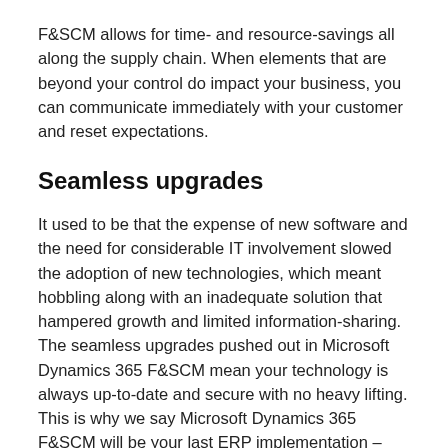F&SCM allows for time- and resource-savings all along the supply chain. When elements that are beyond your control do impact your business, you can communicate immediately with your customer and reset expectations.
Seamless upgrades
It used to be that the expense of new software and the need for considerable IT involvement slowed the adoption of new technologies, which meant hobbling along with an inadequate solution that hampered growth and limited information-sharing. The seamless upgrades pushed out in Microsoft Dynamics 365 F&SCM mean your technology is always up-to-date and secure with no heavy lifting. This is why we say Microsoft Dynamics 365 F&SCM will be your last ERP implementation – you're buying a platform that